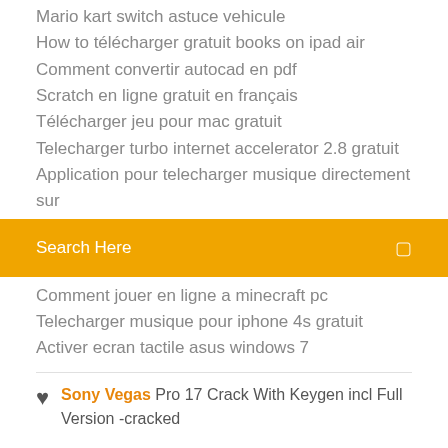Mario kart switch astuce vehicule
How to télécharger gratuit books on ipad air
Comment convertir autocad en pdf
Scratch en ligne gratuit en français
Télécharger jeu pour mac gratuit
Telecharger turbo internet accelerator 2.8 gratuit
Application pour telecharger musique directement sur
Search Here
Comment jouer en ligne a minecraft pc
Telecharger musique pour iphone 4s gratuit
Activer ecran tactile asus windows 7
Sony Vegas Pro 17 Crack With Keygen incl Full Version -cracked
[Figure (other): Social media icons: Facebook, Twitter, Dribbble/Pinterest, Behance]